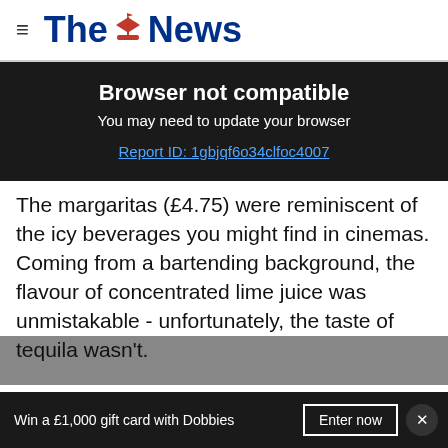The News
Browser not compatible
You may need to update your browser
Report ID: 1gbjqf6o34clfoc4007
The margaritas (£4.75) were reminiscent of the icy beverages you might find in cinemas. Coming from a bartending background, the flavour of concentrated lime juice was unmistakable - unfortunately, the taste of tequila wasn't.
Win a £1,000 gift card with Dobbies   Enter now